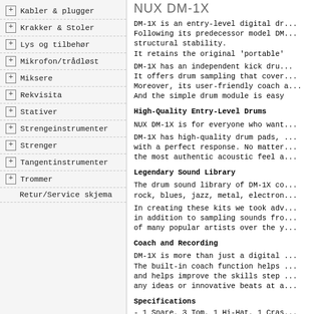+ Kabler & plugger
+ Krakker & Stoler
+ Lys og tilbehør
+ Mikrofon/trådløst
+ Miksere
+ Rekvisita
+ Stativer
+ Strengeinstrumenter
+ Strenger
+ Tangentinstrumenter
+ Trommer
Retur/Service skjema
NUX DM-1X
DM-1X is an entry-level digital dr... Following its predecessor model DM... structural stability.
It retains the original 'portable'
DM-1X has an independent kick dru... It offers drum sampling that cover... Moreover, its user-friendly coach ... And the simple drum module is easy
High-Quality Entry-Level Drums
NUX DM-1X is for everyone who want...
DM-1X has high-quality drum pads, ... with a perfect response. No matter... the most authentic acoustic feel a...
Legendary Sound Library
The drum sound library of DM-1X co... rock, blues, jazz, metal, electron...
In creating these kits we took adv... in addition to sampling sounds fro... of many popular artists over the y...
Coach and Recording
DM-1X is more than just a digital ... The built-in coach function helps ... and helps improve the skills step ... any ideas or innovative beats at a...
Specifications
- 1 Snare, 3 Tom, 1 Hi-Hat, 1 Cras...
- PHONE, DV OV, USB MIDI, AUX IN...